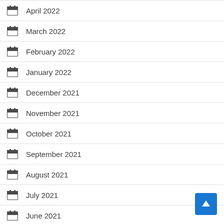April 2022
March 2022
February 2022
January 2022
December 2021
November 2021
October 2021
September 2021
August 2021
July 2021
June 2021
October 2020
September 2020